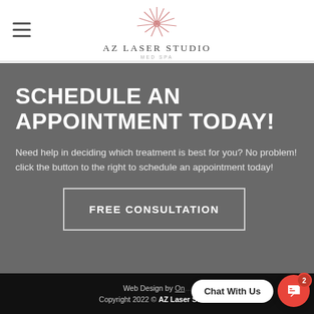AZ LASER STUDIO MED SPA
SCHEDULE AN APPOINTMENT TODAY!
Need help in deciding which treatment is best for you? No problem! click the button to the right to schedule an appointment today!
FREE CONSULTATION
Web Design by On... | Copyright 2022 © AZ Laser Studio